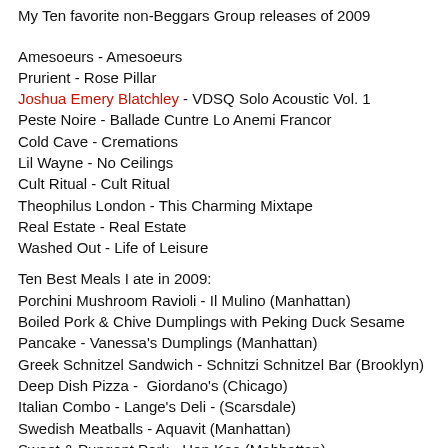My Ten favorite non-Beggars Group releases of 2009
Amesoeurs - Amesoeurs
Prurient - Rose Pillar
Joshua Emery Blatchley - VDSQ Solo Acoustic Vol. 1
Peste Noire - Ballade Cuntre Lo Anemi Francor
Cold Cave - Cremations
Lil Wayne - No Ceilings
Cult Ritual - Cult Ritual
Theophilus London - This Charming Mixtape
Real Estate - Real Estate
Washed Out - Life of Leisure
Ten Best Meals I ate in 2009:
Porchini Mushroom Ravioli - Il Mulino (Manhattan)
Boiled Pork & Chive Dumplings with Peking Duck Sesame Pancake - Vanessa's Dumplings (Manhattan)
Greek Schnitzel Sandwich - Schnitzi Schnitzel Bar (Brooklyn)
Deep Dish Pizza -  Giordano's (Chicago)
Italian Combo - Lange's Deli - (Scarsdale)
Swedish Meatballs - Aquavit (Manhattan)
Sweet & Pungent Pork - Hop Kee (Mahhattan)
Gui Zhou Spicy Chicken - Grand Sichuan St. Marks